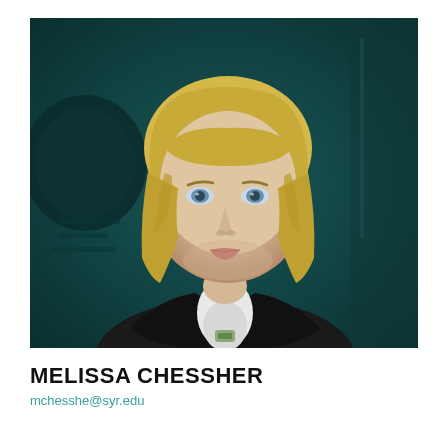[Figure (photo): Portrait photo of Melissa Chessher, a woman with short blonde bob hair wearing a dark blazer over a white shirt, photographed against a dark teal background with indistinct shapes.]
MELISSA CHESSHER
mchesshe@syr.edu